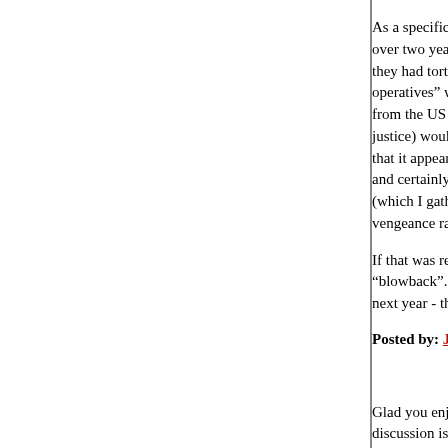As a specific example: the four "civilian security" over two years ago, may have been targetted in a they had tortured Iraqis. No one knows, because operatives" who can torture Iraqis immune from t from the US civilian justice system (and of course justice) would never be revealed. But analysts of that it appeared as if the attack on the convoy spe and certainly the atrocities committed on the corp (which I gather is the polite word for mercenaries) vengeance rather than a general kill-Americans.
If that was revenge for a relative killed or tortured "blowback". And the vengeance taken by the US next year - the uncounted civilians slaughtered - v
Posted by: Jesurgislac | July 08, 2006 at 05:26 AM
Glad you enjoyed the blog, Hilzoy. I agree with ma discussion is vital, but in our society, it tends to be more of an impression. I actually enjoyed posting winger, for no other reason than it really helped to when discussing things with people with whom I d sometime -- it's a very interesting exercise.